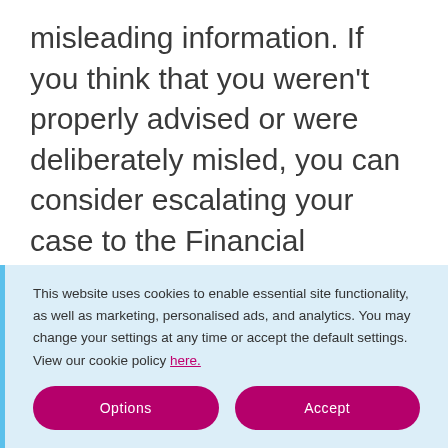misleading information. If you think that you weren't properly advised or were deliberately misled, you can consider escalating your case to the Financial Ombudsman.

Occasionally, some unscrupulous car dealers may not undertake the necessary background checks before selling insurance policies. If you feel that you have been sold an insurance policy that was beyond your means at the time you
This website uses cookies to enable essential site functionality, as well as marketing, personalised ads, and analytics. You may change your settings at any time or accept the default settings. View our cookie policy here.